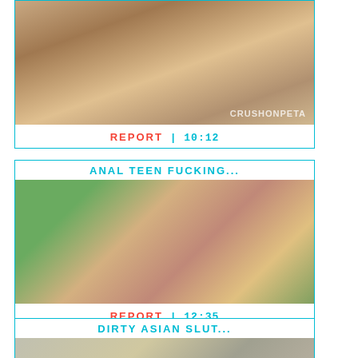[Figure (photo): Thumbnail image of adult content video with watermark 'CrushonPeta']
REPORT | 10:12
ANAL TEEN FUCKING...
[Figure (photo): Thumbnail image of adult content video outdoors on a blanket]
REPORT | 12:35
DIRTY ASIAN SLUT...
[Figure (photo): Thumbnail image of adult content video]